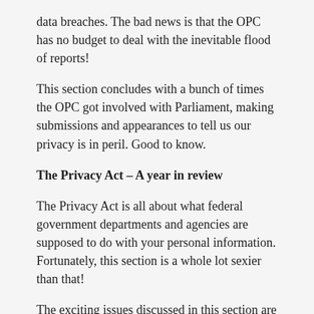data breaches. The bad news is that the OPC has no budget to deal with the inevitable flood of reports!
This section concludes with a bunch of times the OPC got involved with Parliament, making submissions and appearances to tell us our privacy is in peril. Good to know.
The Privacy Act – A year in review
The Privacy Act is all about what federal government departments and agencies are supposed to do with your personal information. Fortunately, this section is a whole lot sexier than that!
The exciting issues discussed in this section are Trump! And Trump! And Canadians having their phones searched at the border. Basically the report says “it sucks, but what are you gonna do?”